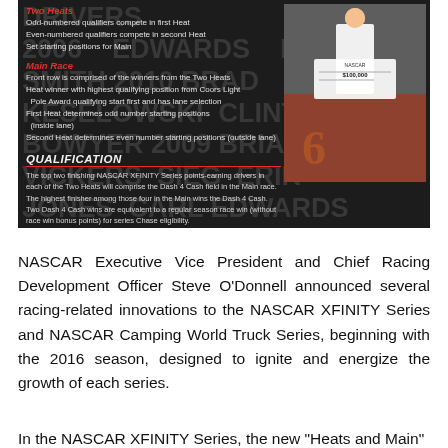[Figure (infographic): Dark-themed NASCAR infographic panel showing Two Heats and Main Race rules with watermark driver names in background, and qualification text about Dash 4 Cash. Photo of NASCAR driver holding oversized check on right side.]
NASCAR Executive Vice President and Chief Racing Development Officer Steve O'Donnell announced several racing-related innovations to the NASCAR XFINITY Series and NASCAR Camping World Truck Series, beginning with the 2016 season, designed to ignite and energize the growth of each series.
In the NASCAR XFINITY Series, the new "Heats and Main" format...